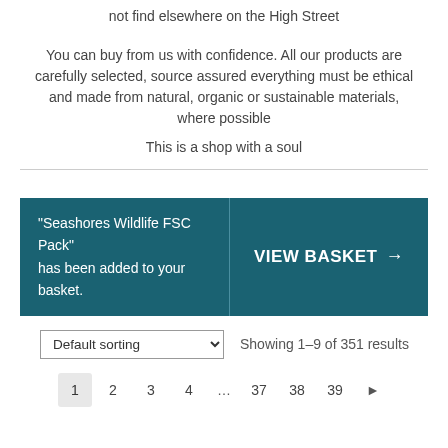not find elsewhere on the High Street
You can buy from us with confidence. All our products are carefully selected, source assured everything must be ethical and made from natural, organic or sustainable materials, where possible
This is a shop with a soul
"Seashores Wildlife FSC Pack" has been added to your basket.
VIEW BASKET →
Default sorting
Showing 1–9 of 351 results
1 2 3 4 … 37 38 39 ▶